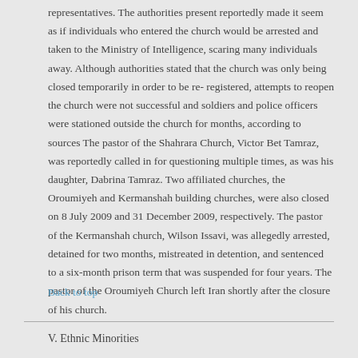representatives. The authorities present reportedly made it seem as if individuals who entered the church would be arrested and taken to the Ministry of Intelligence, scaring many individuals away. Although authorities stated that the church was only being closed temporarily in order to be re- registered, attempts to reopen the church were not successful and soldiers and police officers were stationed outside the church for months, according to sources The pastor of the Shahrara Church, Victor Bet Tamraz, was reportedly called in for questioning multiple times, as was his daughter, Dabrina Tamraz. Two affiliated churches, the Oroumiyeh and Kermanshah building churches, were also closed on 8 July 2009 and 31 December 2009, respectively. The pastor of the Kermanshah church, Wilson Issavi, was allegedly arrested, detained for two months, mistreated in detention, and sentenced to a six-month prison term that was suspended for four years. The pastor of the Oroumiyeh Church left Iran shortly after the closure of his church.
Back to top
V. Ethnic Minorities